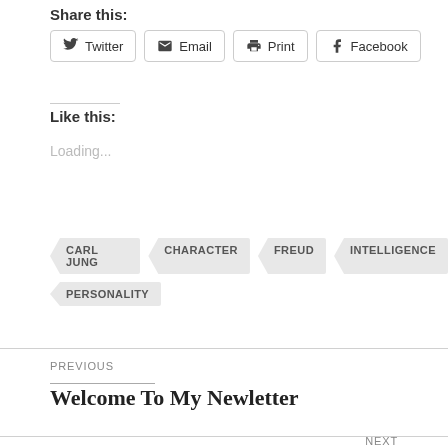Share this:
Twitter  Email  Print  Facebook
Like this:
Loading...
CARL JUNG
CHARACTER
FREUD
INTELLIGENCE
PERSONALITY
PREVIOUS
Welcome To My Newletter
NEXT